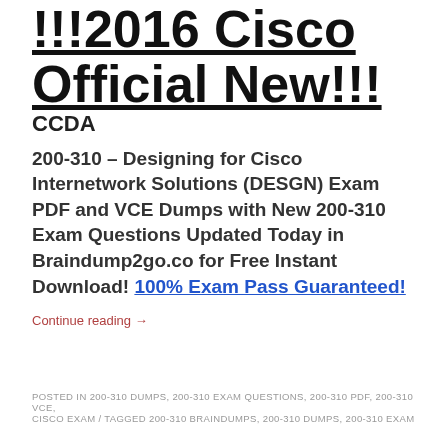!!!2016 Cisco Official New!!! CCDA 200-310 – Designing for Cisco Internetwork Solutions (DESGN) Exam PDF and VCE Dumps with New 200-310 Exam Questions Updated Today in Braindump2go.co for Free Instant Download! 100% Exam Pass Guaranteed!
Continue reading →
POSTED IN 200-310 DUMPS, 200-310 EXAM QUESTIONS, 200-310 PDF, 200-310 VCE, CISCO EXAM / TAGGED 200-310 BRAINDUMPS, 200-310 DUMPS, 200-310 EXAM